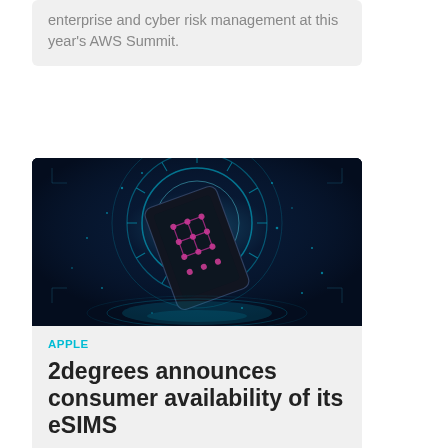enterprise and cyber risk management at this year's AWS Summit.
[Figure (illustration): Dark blue glowing technology background with a smartphone/tablet device displaying a circuit pattern, surrounded by cyan circular digital rings and light effects suggesting eSIM or connectivity technology.]
APPLE
2degrees announces consumer availability of its eSIMS
2degrees has launched its eSIMs for